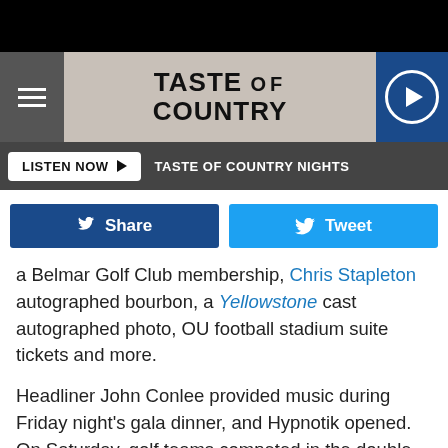[Figure (screenshot): Black top bar]
TASTE OF COUNTRY
LISTEN NOW ▶  TASTE OF COUNTRY NIGHTS
[Figure (infographic): Share and Tweet social buttons]
a Belmar Golf Club membership, Chris Stapleton autographed bourbon, a Yellowstone cast autographed photo, OU football stadium suite tickets and more.
Headliner John Conlee provided music during Friday night's gala dinner, and Hypnotik opened. On Saturday, golf teams competed in the double shotgun start Golf Classic at Keith's Belmar Golf Club. The winning morning team consisted